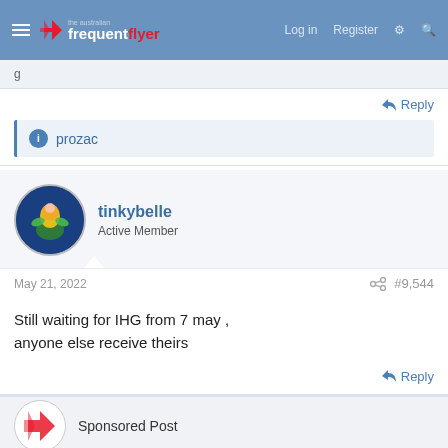The Australian Frequent Flyer | Log in | Register
prozac
tinkybelle
Active Member
May 21, 2022  #9,544
Still waiting for IHG from 7 may , anyone else receive theirs
Sponsored Post